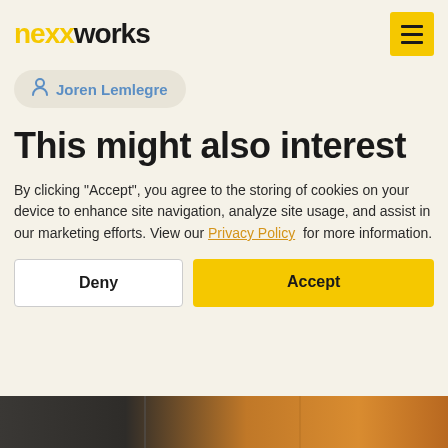nexxworks
Joren Lemlegre
This might also interest
By clicking “Accept”, you agree to the storing of cookies on your device to enhance site navigation, analyze site usage, and assist in our marketing efforts. View our Privacy Policy for more information.
Deny | Accept
[Figure (photo): Bottom image strip showing a dark industrial/wind turbine scene on the left transitioning to a warm orange sunset sky on the right]